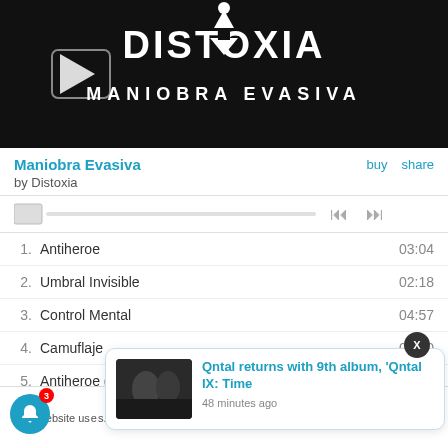[Figure (screenshot): Album artwork for Maniobra Evasiva by Distoxia — dark background with white logo text DISTOXIA and MANIOBRA EVASIVA, with a play button overlay]
Maniobra Evasiva
by Distoxia
[Figure (screenshot): Audio player progress bar with thumb and skip controls]
1. Antiheroe  03:04
2. Umbral Invisible  02:18
3. Control Mental  04:57
4. Camuflaje  04:20
5. Antiheroe (Syncfactory Remix)  04:06
This website us...ume you're...
[Figure (screenshot): Notification popup: Qntal returns with 9th album, 'Qntal IX: Time — 48 minutes ago, with thumbnail of band]